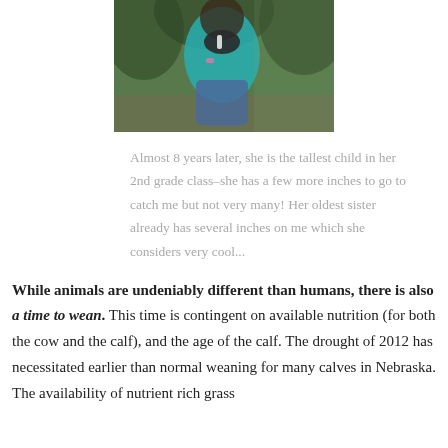[Figure (photo): A child in a teal shirt holding what appears to be an animal, outdoors with trees in the background.]
Almost 8 years later, she is the tallest child in her 2nd grade class–she has a few more inches to go to catch me but not very many! Her oldest sister already has several inches on me which she considers very cool...
While animals are undeniably different than humans, there is also a time to wean. This time is contingent on available nutrition (for both the cow and the calf), and the age of the calf. The drought of 2012 has necessitated earlier than normal weaning for many calves in Nebraska. The availability of nutrient rich grass